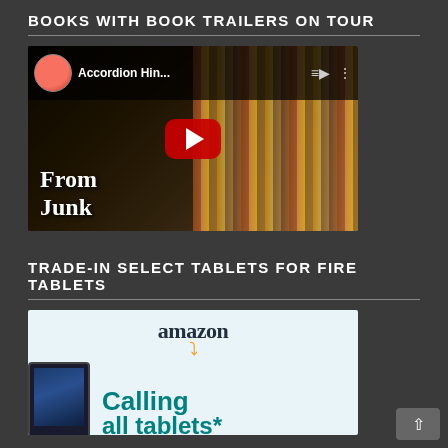BOOKS WITH BOOK TRAILERS ON TOUR
[Figure (screenshot): YouTube video thumbnail showing an accordion hinge journal craft tutorial titled 'Accordion Hin...' with text 'From Junk' and a red play button overlay. Video by a creator shown with avatar.]
TRADE-IN SELECT TABLETS FOR FIRE TABLETS
[Figure (photo): Amazon advertisement with Amazon logo, showing a Fire tablet image and text 'Calling all tablets*' on a light blue background.]